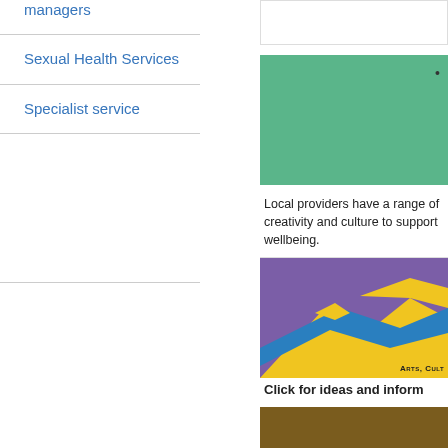managers
Sexual Health Services
Specialist service
[Figure (screenshot): Partial white card panel on right side]
[Figure (photo): Green section with bullet point]
Local providers have a range of creativity and culture to support wellbeing.
[Figure (illustration): Arts, Culture image with purple, blue, and yellow abstract artwork. Caption reads ARTS, CULT...]
Click for ideas and inform...
[Figure (photo): Brown background section with pink cursive text beginning 'Creati...']